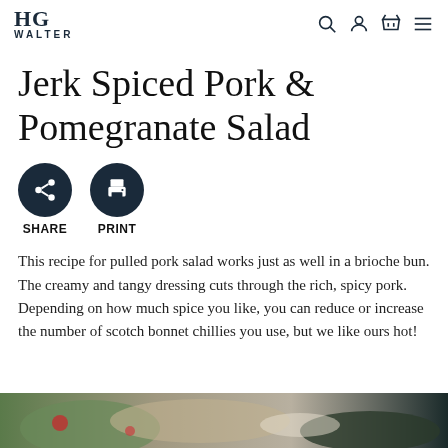HG WALTER
Jerk Spiced Pork & Pomegranate Salad
SHARE  PRINT
This recipe for pulled pork salad works just as well in a brioche bun. The creamy and tangy dressing cuts through the rich, spicy pork. Depending on how much spice you like, you can reduce or increase the number of scotch bonnet chillies you use, but we like ours hot!
[Figure (photo): Partial view of a salad dish, cropped at bottom of page]